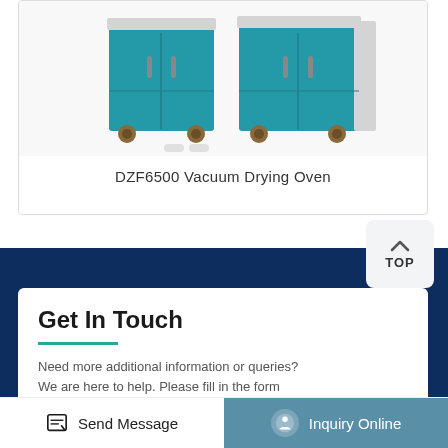[Figure (photo): Two teal/blue vacuum drying ovens on wheels side by side]
DZF6500 Vacuum Drying Oven
[Figure (other): TOP back-to-top button with upward chevron arrow]
Get In Touch
Need more additional information or queries? We are here to help. Please fill in the form
Send Message | Inquiry Online